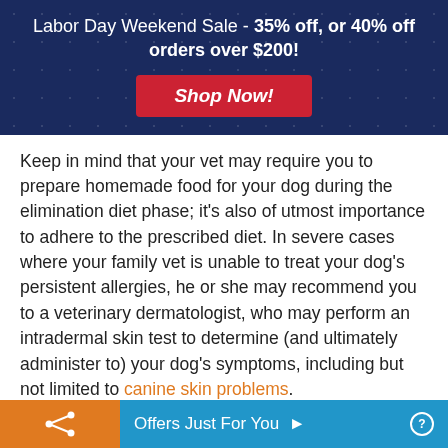Labor Day Weekend Sale - 35% off, or 40% off orders over $200!
Keep in mind that your vet may require you to prepare homemade food for your dog during the elimination diet phase; it's also of utmost importance to adhere to the prescribed diet. In severe cases where your family vet is unable to treat your dog's persistent allergies, he or she may recommend you to a veterinary dermatologist, who may perform an intradermal skin test to determine (and ultimately administer to) your dog's symptoms, including but not limited to canine skin problems.
[Figure (photo): Partial photo of a dark-colored dog's head against a green outdoor background, with a small badge/logo in the lower right corner]
Offers Just For You ▶